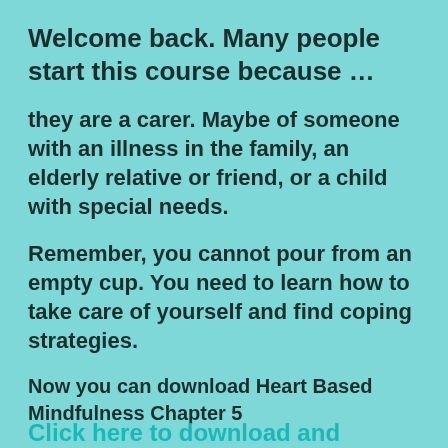Welcome back. Many people start this course because …
they are a carer. Maybe of someone with an illness in the family, an elderly relative or friend, or a child with special needs.
Remember, you cannot pour from an empty cup. You need to learn how to take care of yourself and find coping strategies.
Now you can download Heart Based Mindfulness Chapter 5
Click here to download and